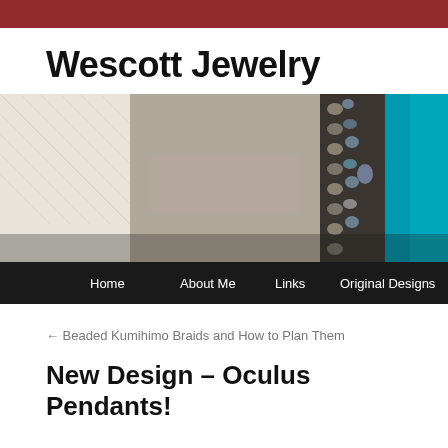Wescott Jewelry
[Figure (photo): Close-up photo of beaded jewelry with turquoise blue stone/pendant and silver metallic beads on a light fabric background, with a dark navigation bar at the bottom containing menu items: Home, About Me, Links, Original Designs]
← Beaded Kumihimo Braids and How to Plan Them
New Design – Oculus Pendants!